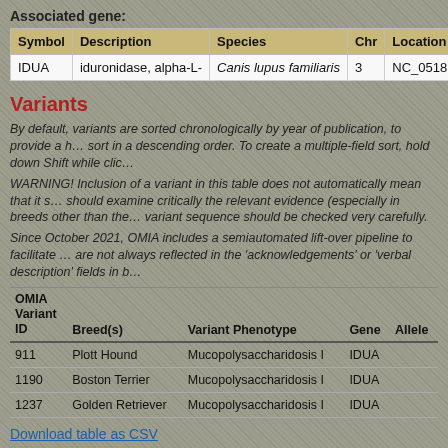Associated gene:
| Symbol | Description | Species | Chr | Location |
| --- | --- | --- | --- | --- |
| IDUA | iduronidase, alpha-L- | Canis lupus familiaris | 3 | NC_0518… |
Variants
By default, variants are sorted chronologically by year of publication, to provide a h… sort in a descending order. To create a multiple-field sort, hold down Shift while clic…
WARNING! Inclusion of a variant in this table does not automatically mean that it s… should examine critically the relevant evidence (especially in breeds other than the… variant sequence should be checked very carefully.
Since October 2021, OMIA includes a semiautomated lift-over pipeline to facilitate … are not always reflected in the 'acknowledgements' or 'verbal description' fields in b…
| OMIA Variant ID | Breed(s) | Variant Phenotype | Gene | Allele |
| --- | --- | --- | --- | --- |
| 911 | Plott Hound | Mucopolysaccharidosis I | IDUA |  |
| 1190 | Boston Terrier | Mucopolysaccharidosis I | IDUA |  |
| 1237 | Golden Retriever | Mucopolysaccharidosis I | IDUA |  |
Download table as CSV
References